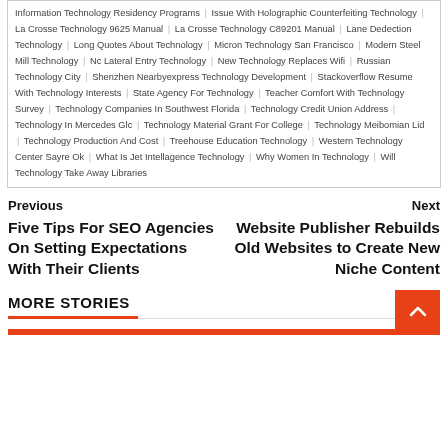Information Technology Residency Programs | Issue With Holographic Counterfeiting Technology | La Crosse Technology 9625 Manual | La Crosse Technology C89201 Manual | Lane Dedection Technology | Long Quotes About Technology | Micron Technology San Francisco | Modern Steel Mill Technology | Nc Lateral Entry Technology | New Technology Replaces Wifi | Russian Technology City | Shenzhen Nearbyexpress Technology Development | Stackoverflow Resume With Technology Interests | State Agency For Technology | Teacher Comfort With Technology Survey | Technology Companies In Southwest Florida | Technology Credit Union Address | Technology In Mercedes Glc | Technology Material Grant For College | Technology Meibomian Lid | Technology Production And Cost | Treehouse Education Technology | Western Technology Center Sayre Ok | What Is Jet Intellagence Technology | Why Women In Technology | Will Technology Take Away Libraries
Previous
Next
Five Tips For SEO Agencies On Setting Expectations With Their Clients
Website Publisher Rebuilds Old Websites to Create New Niche Content
MORE STORIES